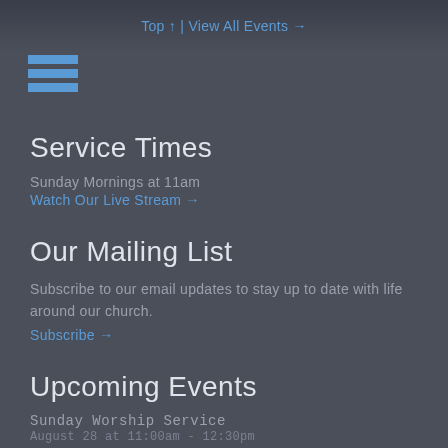Top ↑ | View All Events →
[Figure (other): Hamburger menu icon with three blue horizontal bars]
Service Times
Sunday Mornings at 11am
Watch Our Live Stream →
Our Mailing List
Subscribe to our email updates to stay up to date with life around our church.
Subscribe →
Upcoming Events
Sunday Worship Service
August 28 at 11:00am - 12:30pm